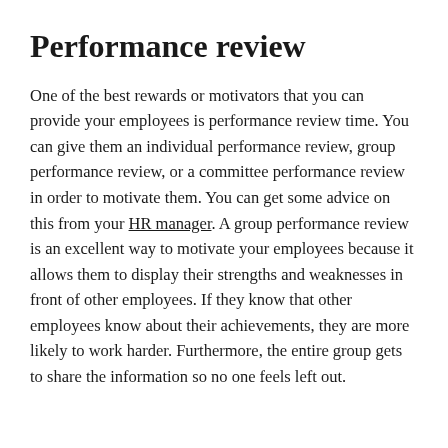Performance review
One of the best rewards or motivators that you can provide your employees is performance review time. You can give them an individual performance review, group performance review, or a committee performance review in order to motivate them. You can get some advice on this from your HR manager. A group performance review is an excellent way to motivate your employees because it allows them to display their strengths and weaknesses in front of other employees. If they know that other employees know about their achievements, they are more likely to work harder. Furthermore, the entire group gets to share the information so no one feels left out.